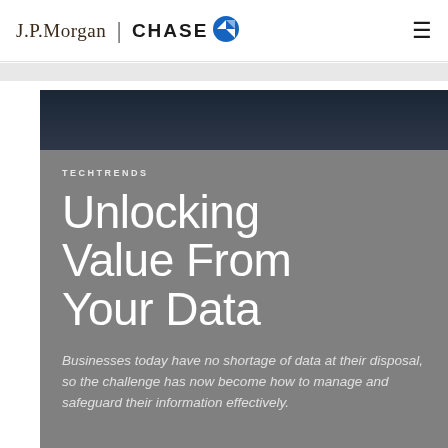J.P.Morgan | CHASE
TECHTRENDS
Unlocking Value From Your Data
Businesses today have no shortage of data at their disposal, so the challenge has now become how to manage and safeguard their information effectively.